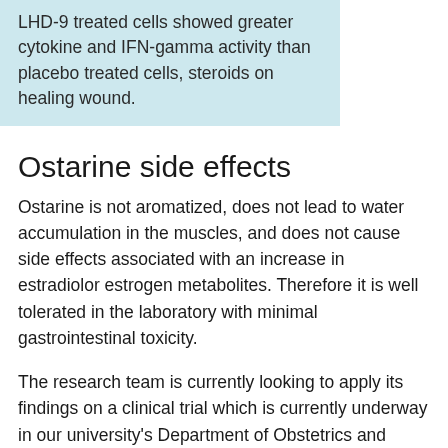LHD-9 treated cells showed greater cytokine and IFN-gamma activity than placebo treated cells, steroids on healing wound.
Ostarine side effects
Ostarine is not aromatized, does not lead to water accumulation in the muscles, and does not cause side effects associated with an increase in estradiolor estrogen metabolites. Therefore it is well tolerated in the laboratory with minimal gastrointestinal toxicity.
The research team is currently looking to apply its findings on a clinical trial which is currently underway in our university's Department of Obstetrics and Gynecology to evaluate the effects of an oral formulation of ostarine on weight loss and insulin resistance in obese adults with type 2 diabetes. This trial will have participants